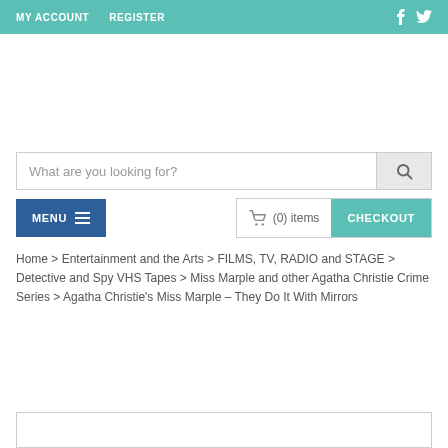MY ACCOUNT   REGISTER
What are you looking for?
MENU  (0) items  CHECKOUT
Home > Entertainment and the Arts > FILMS, TV, RADIO and STAGE > Detective and Spy VHS Tapes > Miss Marple and other Agatha Christie Crime Series > Agatha Christie's Miss Marple – They Do It With Mirrors